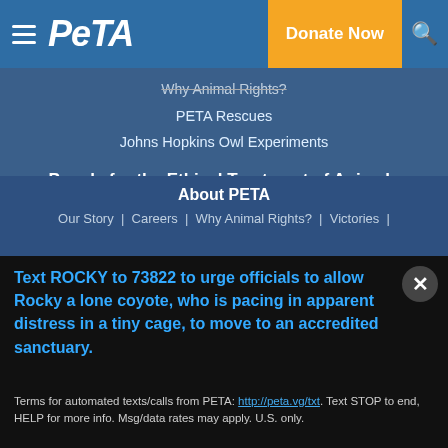PETA — Donate Now
Why Animal Rights?
PETA Rescues
Johns Hopkins Owl Experiments
People for the Ethical Treatment of Animals
501 Front St., Norfolk, VA 23510 • 757-622-PETA (7382) • 757-622-0457 (fax)
PETA is a nonprofit, tax-exempt 501(c)(3) corporation (tax ID number 52-1218336).
About PETA
Our Story | Careers | Why Animal Rights? | Victories |
Text ROCKY to 73822 to urge officials to allow Rocky a lone coyote, who is pacing in apparent distress in a tiny cage, to move to an accredited sanctuary.
Terms for automated texts/calls from PETA: http://peta.vg/txt. Text STOP to end, HELP for more info. Msg/data rates may apply. U.S. only.